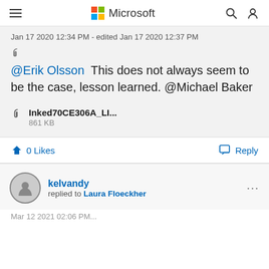Microsoft
Jan 17 2020 12:34 PM - edited Jan 17 2020 12:37 PM
@Erik Olsson This does not always seem to be the case, lesson learned. @Michael Baker
Inked70CE306A_LI...
861 KB
0 Likes
Reply
kelvandy replied to Laura Floeckher